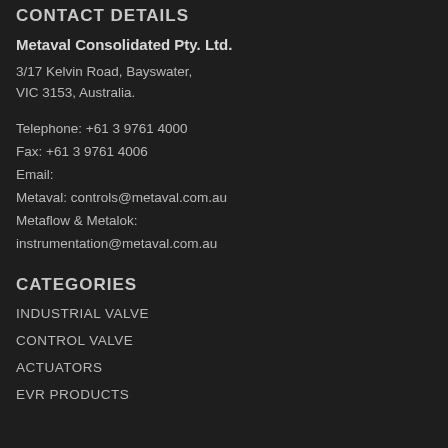CONTACT DETAILS
Metaval Consolidated Pty. Ltd.
3/17 Kelvin Road, Bayswater, VIC 3153, Australia.
Telephone: +61 3 9761 4000
Fax: +61 3 9761 4006
Email:
Metaval: controls@metaval.com.au
Metaflow & Metalok:
instrumentation@metaval.com.au
CATEGORIES
INDUSTRIAL VALVE
CONTROL VALVE
ACTUATORS
EVR PRODUCTS